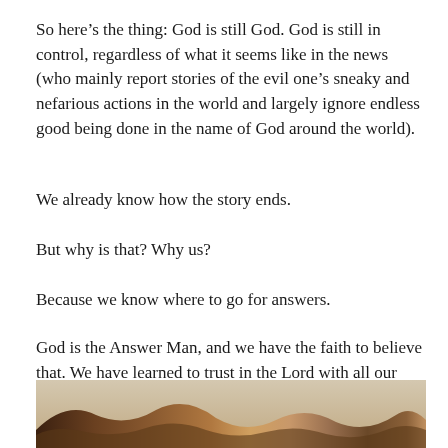So here’s the thing: God is still God. God is still in control, regardless of what it seems like in the news (who mainly report stories of the evil one’s sneaky and nefarious actions in the world and largely ignore endless good being done in the name of God around the world).
We already know how the story ends.
But why is that? Why us?
Because we know where to go for answers.
God is the Answer Man, and we have the faith to believe that. We have learned to trust in the Lord with all our heart and not to lean on our own understanding, as Solomon suggested:
[Figure (photo): A photo of a desert or sandy landscape with warm brown and tan tones, partially visible at the bottom of the page.]